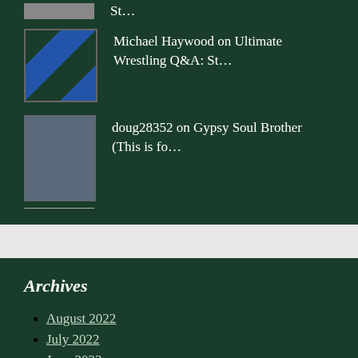St…
Michael Haywood on Ultimate Wrestling Q&A: St…
doug28352 on Gypsy Soul Brother (This is fo…
Archives
August 2022
July 2022
June 2022
May 2022
April 2022
March 2022